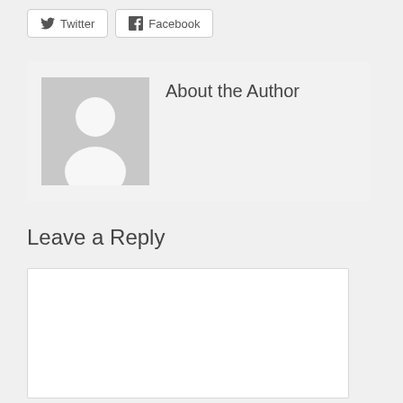[Figure (other): Twitter and Facebook social sharing buttons]
[Figure (other): About the Author section with placeholder avatar image and heading]
Leave a Reply
[Figure (other): Empty comment textarea input box]